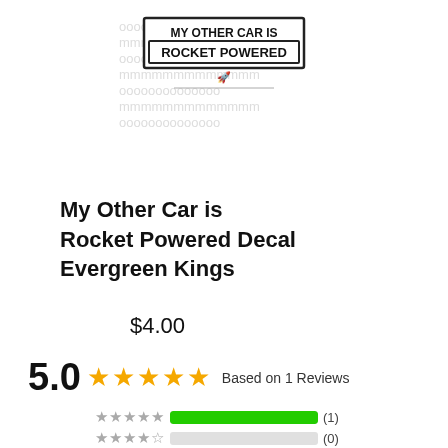[Figure (illustration): Product image: a sticker/decal featuring text 'ROCKET POWERED' with faint rocket/letter watermark pattern in the background]
My Other Car is Rocket Powered Decal Evergreen Kings
$4.00
5.0 ★★★★★ Based on 1 Reviews
| Stars | Bar | Count |
| --- | --- | --- |
| ★★★★★ | 100% | (1) |
| ★★★★☆ | 0% | (0) |
| ★★★☆☆ | 0% | (0) |
| ★★☆☆☆ | 0% | (0) |